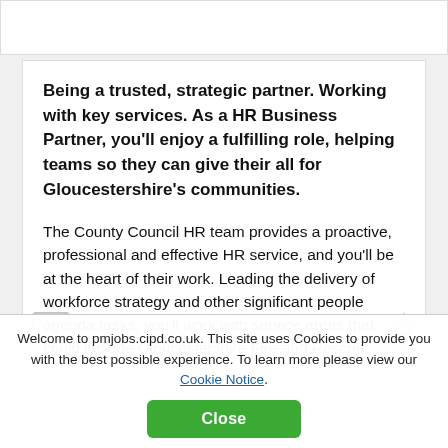Being a trusted, strategic partner. Working with key services. As a HR Business Partner, you'll enjoy a fulfilling role, helping teams so they can give their all for Gloucestershire's communities.
The County Council HR team provides a proactive, professional and effective HR service, and you'll be at the heart of their work. Leading the delivery of workforce strategy and other significant people agenda tasks, you'll work with service areas that could include Gloucestershire Fire and Rescue
Welcome to pmjobs.cipd.co.uk. This site uses Cookies to provide you with the best possible experience. To learn more please view our Cookie Notice.